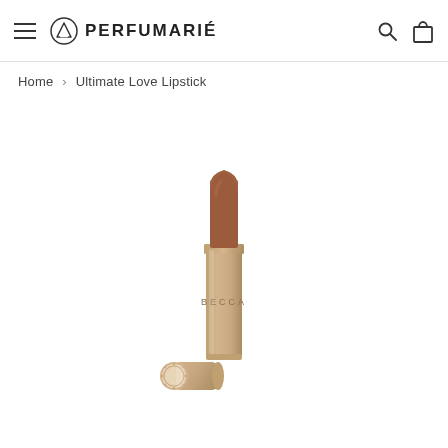PERFUMARIÉ
Home > Ultimate Love Lipstick
[Figure (photo): A BECCA Ultimate Love Lipstick in a warm terracotta/nude-brown shade, shown in a gold metallic bullet tube with the cap resting beside it on its side. The lipstick tube is cylindrical gold/champagne with 'BECCA' text on the barrel. The cap is also gold with a circular embossed design on the end.]